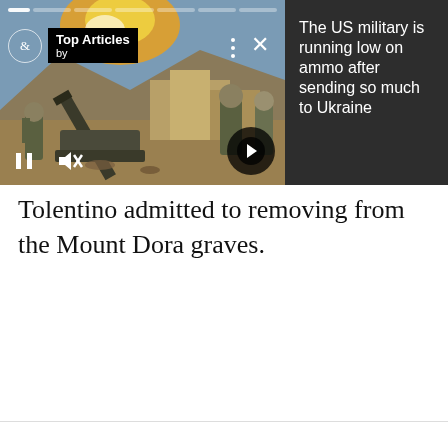[Figure (screenshot): An ad widget showing a military/news article promotion. Left side shows a war scene image with soldiers and artillery. Right side (dark background) shows headline: 'The US military is running low on ammo after sending so much to Ukraine'. Widget has 'Top Articles by' badge, progress bar segments, pause/mute controls, and next arrow button.]
Tolentino admitted to removing from the Mount Dora graves.